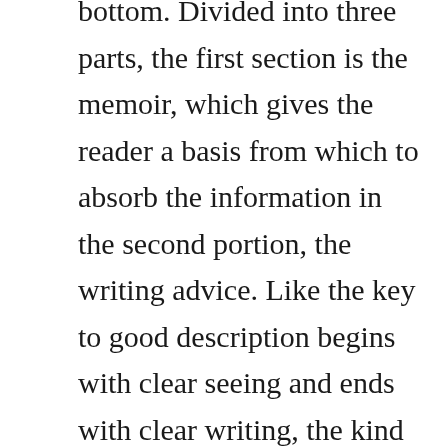bottom. Divided into three parts, the first section is the memoir, which gives the reader a basis from which to absorb the information in the second portion, the writing advice. Like the key to good description begins with clear seeing and ends with clear writing, the kind of writing that employs fresh images and simple vocabulary. King graduated from high school in 1966, then went on to the university of maine at orono. A memoir of the craft part memoir, part master class by one of the bestselling authors of all time, this superb volume is a. Splendidly organized, neighborly